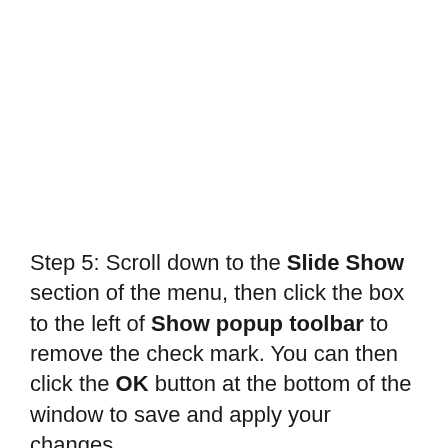Step 5: Scroll down to the Slide Show section of the menu, then click the box to the left of Show popup toolbar to remove the check mark. You can then click the OK button at the bottom of the window to save and apply your changes.